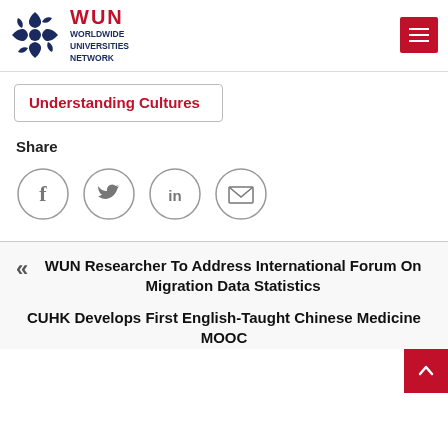[Figure (logo): WUN – Worldwide Universities Network logo with dark blue geometric icon and red WUN text]
Understanding Cultures
Share
[Figure (infographic): Four circular social share buttons: Facebook, Twitter, LinkedIn, Email]
WUN Researcher To Address International Forum On Migration Data Statistics
CUHK Develops First English-Taught Chinese Medicine MOOC